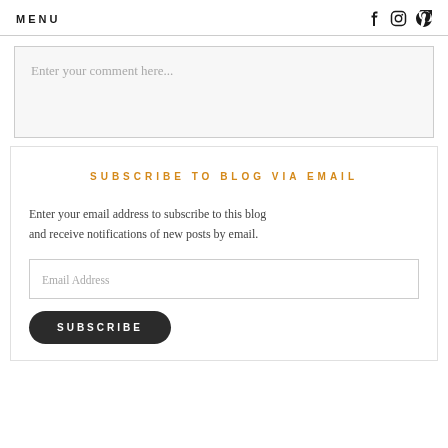MENU
Enter your comment here...
SUBSCRIBE TO BLOG VIA EMAIL
Enter your email address to subscribe to this blog and receive notifications of new posts by email.
Email Address
SUBSCRIBE